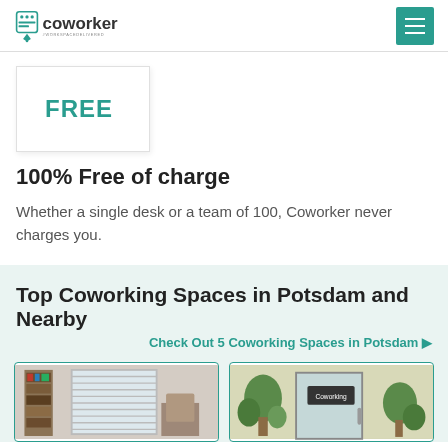coworker #WORKSPACEDELIVERED
[Figure (illustration): FREE badge - white card with teal FREE text]
100% Free of charge
Whether a single desk or a team of 100, Coworker never charges you.
Top Coworking Spaces in Potsdam and Nearby
Check Out 5 Coworking Spaces in Potsdam ▶
[Figure (photo): Photo of a coworking space interior with bookshelves and window blinds]
[Figure (photo): Photo of Coworking space exterior with plants and glass door showing Coworking sign]